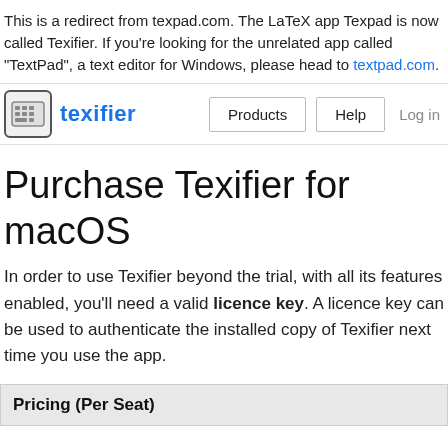This is a redirect from texpad.com. The LaTeX app Texpad is now called Texifier. If you're looking for the unrelated app called "TextPad", a text editor for Windows, please head to textpad.com.
[Figure (logo): Texifier app logo/icon with keyboard graphic and brand name, plus navigation buttons: Products, Help, Log in]
Purchase Texifier for macOS
In order to use Texifier beyond the trial, with all its features enabled, you'll need a valid licence key. A licence key can be used to authenticate the installed copy of Texifier next time you use the app.
Pricing (Per Seat)